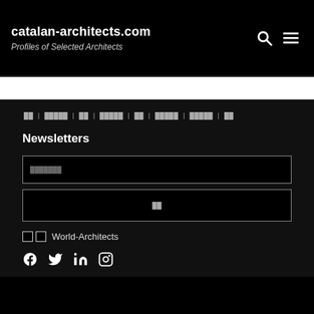catalan-architects.com — Profiles of Selected Architects
██ | █████ | ██ | █████ | ██ | █████ | █████ | ██
Newsletters
[email input field]
[Subscribe button]
□ □ World-Architects
Social icons: Facebook, Twitter, LinkedIn, Instagram